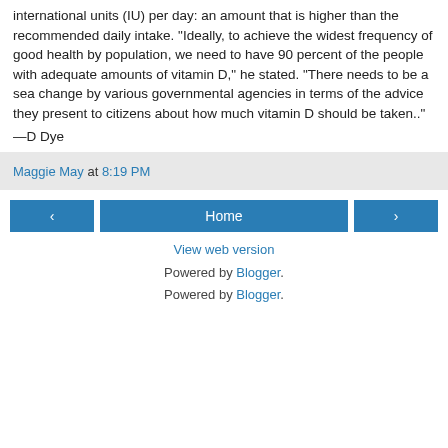international units (IU) per day: an amount that is higher than the recommended daily intake. "Ideally, to achieve the widest frequency of good health by population, we need to have 90 percent of the people with adequate amounts of vitamin D," he stated. "There needs to be a sea change by various governmental agencies in terms of the advice they present to citizens about how much vitamin D should be taken.."
—D Dye
Maggie May at 8:19 PM
< Home >
View web version
Powered by Blogger.
Powered by Blogger.